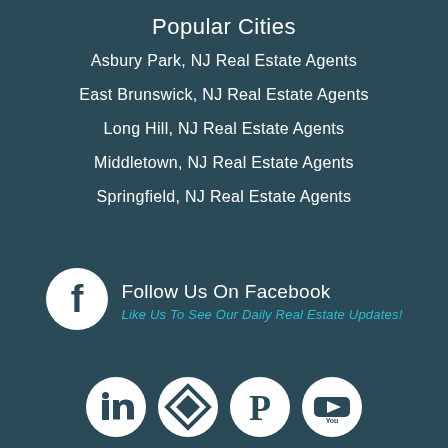Popular Cities
Asbury Park, NJ Real Estate Agents
East Brunswick, NJ Real Estate Agents
Long Hill, NJ Real Estate Agents
Middletown, NJ Real Estate Agents
Springfield, NJ Real Estate Agents
Follow Us On Facebook
Like Us To See Our Daily Real Estate Updates!
[Figure (infographic): Facebook icon (white circle with F logo) and four social media icons at bottom: LinkedIn, Trulia, Pinterest, YouTube]